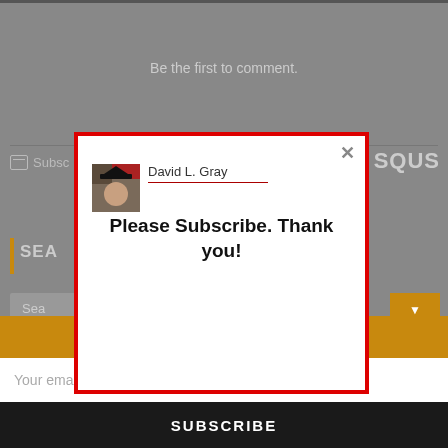Be the first to comment.
Subsc
SQUS
SEA
Sea
[Figure (screenshot): Modal popup dialog with red border showing David L. Gray avatar and name, with message 'Please Subscribe. Thank you!' and an X close button]
Sign Up for Update Notifications
Your email address..
SUBSCRIBE